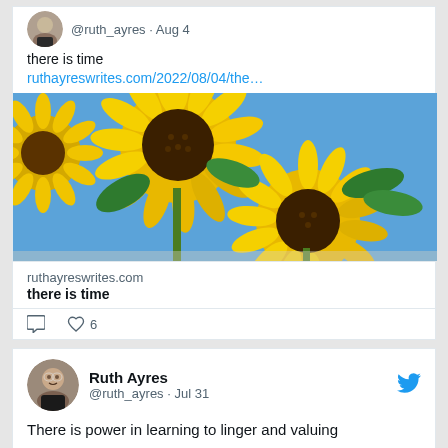@ruth_ayres · Aug 4
there is time
ruthayreswrites.com/2022/08/04/the…
[Figure (photo): Two large sunflowers photographed from below against a bright blue sky, with green leaves visible.]
ruthayreswrites.com
there is time
6 likes
Ruth Ayres
@ruth_ayres · Jul 31
There is power in learning to linger and valuing